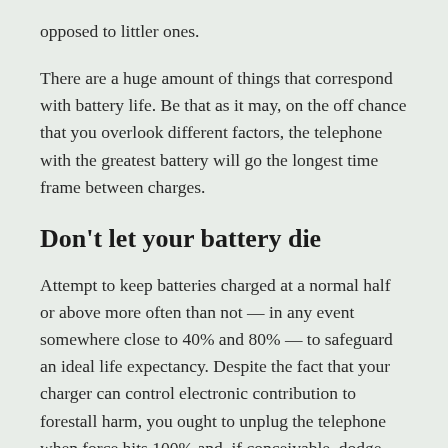opposed to littler ones.
There are a huge amount of things that correspond with battery life. Be that as it may, on the off chance that you overlook different factors, the telephone with the greatest battery will go the longest time frame between charges.
Don’t let your battery die
Attempt to keep batteries charged at a normal half or above more often than not — in any event somewhere close to 40% and 80% — to safeguard an ideal life expectancy. Despite the fact that your charger can control electronic contribution to forestall harm, you ought to unplug the telephone when force hits 100% and, if conceivable, dodge